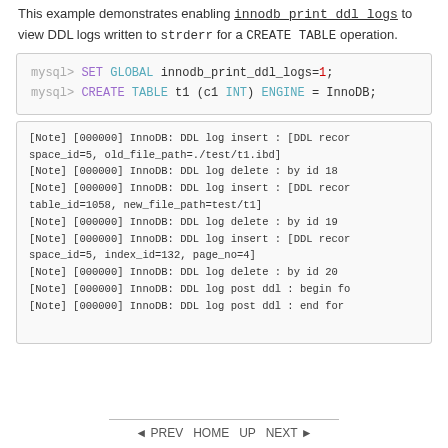This example demonstrates enabling innodb_print_ddl_logs to view DDL logs written to strderr for a CREATE TABLE operation.
[Figure (screenshot): Code box showing MySQL commands: SET GLOBAL innodb_print_ddl_logs=1; and CREATE TABLE t1 (c1 INT) ENGINE = InnoDB;]
[Figure (screenshot): Log output box showing InnoDB DDL log entries including insert, delete, and post ddl operations with record details.]
◄ PREV  HOME  UP  NEXT ►